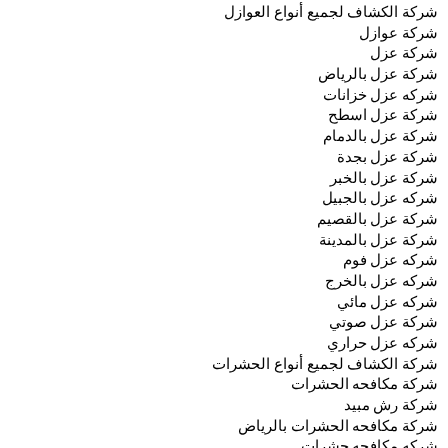شركة الكشاف لجميع أنواع العوازل
شركة عوازل
شركة عزل
شركة عزل بالرياض
شركه عزل خزانات
شركة عزل اسطح
شركة عزل بالدمام
شركة عزل بجدة
شركة عزل بالخبر
شركه عزل بالجبيل
شركة عزل بالقصيم
شركة عزل بالمدينة
شركه عزل فوم
شركه عزل بالخرج
شركه عزل مائي
شركة عزل صوتي
شركه عزل حراري
شركة الكشاف لجميع أنواع الحشرات
شركة مكافحه الحشرات
شركة رش مبيد
شركة مكافحه الحشرات بالرياض
شركه مكافحه حشرات